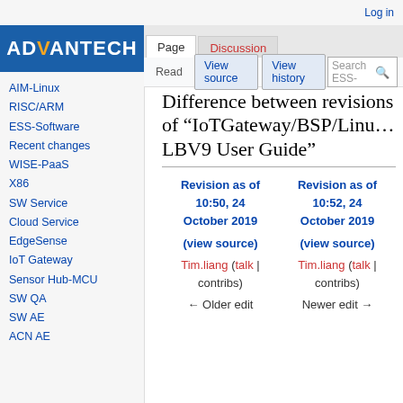Log in
[Figure (logo): Advantech logo — white bold text on dark blue background]
AIM-Linux
RISC/ARM
ESS-Software
Recent changes
WISE-PaaS
X86
SW Service
Cloud Service
EdgeSense
IoT Gateway
Sensor Hub-MCU
SW QA
SW AE
ACN AE
Difference between revisions of "IoTGateway/BSP/Linux LBV9 User Guide"
| Revision as of 10:50, 24 October 2019 | Revision as of 10:52, 24 October 2019 |
| --- | --- |
| (view source) | (view source) |
| Tim.liang (talk | contribs) | Tim.liang (talk | contribs) |
| ← Older edit | Newer edit → |